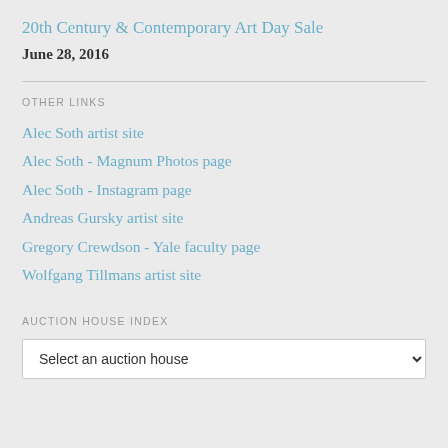20th Century & Contemporary Art Day Sale
June 28, 2016
OTHER LINKS
Alec Soth artist site
Alec Soth - Magnum Photos page
Alec Soth - Instagram page
Andreas Gursky artist site
Gregory Crewdson - Yale faculty page
Wolfgang Tillmans artist site
AUCTION HOUSE INDEX
Select an auction house